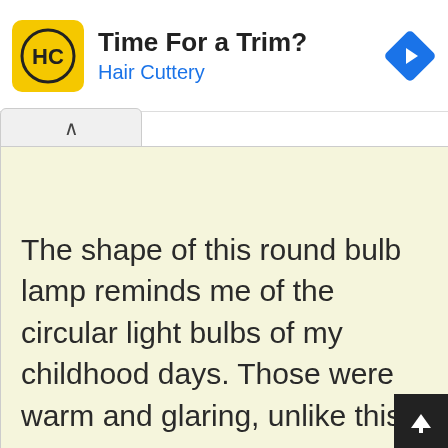[Figure (infographic): Advertisement banner for Hair Cuttery with yellow logo showing HC letters, text 'Time For a Trim?' and 'Hair Cuttery' in blue, and a blue diamond-shaped navigation arrow icon on the right.]
[Figure (infographic): A tab/scroll-up control element with an upward-pointing chevron (^) on a light gray background.]
The shape of this round bulb lamp reminds me of the circular light bulbs of my childhood days. Those were warm and glaring, unlike this